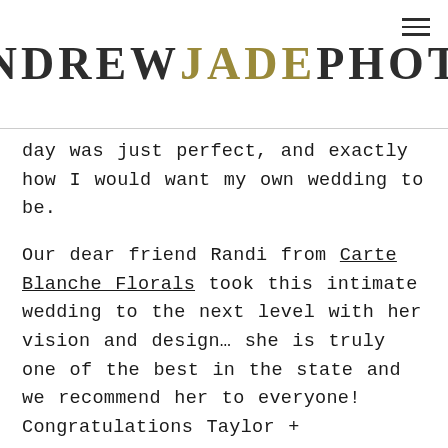ANDREW JADE PHOTO
day was just perfect, and exactly how I would want my own wedding to be.

Our dear friend Randi from Carte Blanche Florals took this intimate wedding to the next level with her vision and design… she is truly one of the best in the state and we recommend her to everyone! Congratulations Taylor + Elizabeth! We wish you all the happiness in the world!
Here are several of my favorites from